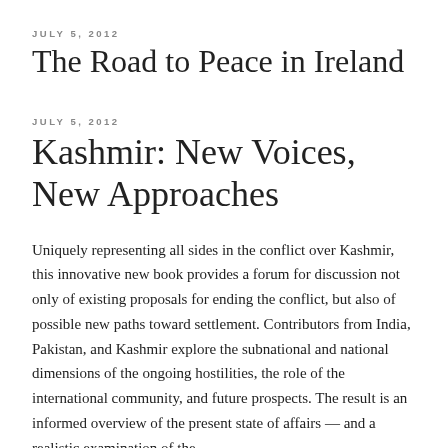JULY 5, 2012
The Road to Peace in Ireland
JULY 5, 2012
Kashmir: New Voices, New Approaches
Uniquely representing all sides in the conflict over Kashmir, this innovative new book provides a forum for discussion not only of existing proposals for ending the conflict, but also of possible new paths toward settlement. Contributors from India, Pakistan, and Kashmir explore the subnational and national dimensions of the ongoing hostilities, the role of the international community, and future prospects. The result is an informed overview of the present state of affairs — and a realistic examination of the